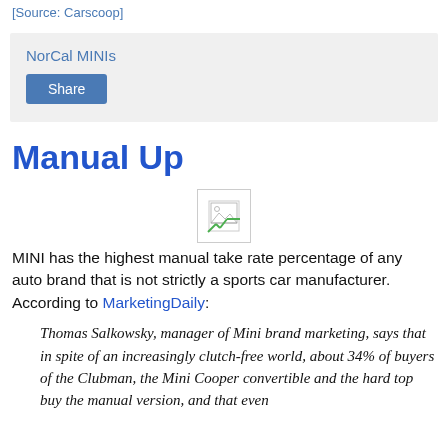[Source: Carscoop]
NorCal MINIs
Share
Manual Up
[Figure (other): Broken/missing image placeholder icon]
MINI has the highest manual take rate percentage of any auto brand that is not strictly a sports car manufacturer. According to MarketingDaily:
Thomas Salkowsky, manager of Mini brand marketing, says that in spite of an increasingly clutch-free world, about 34% of buyers of the Clubman, the Mini Cooper convertible and the hard top buy the manual version, and that even